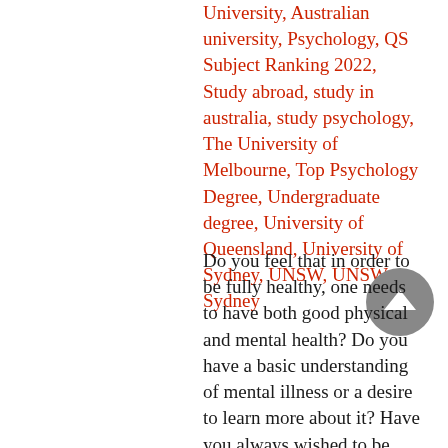University, Australian university, Psychology, QS Subject Ranking 2022, Study abroad, study in australia, study psychology, The University of Melbourne, Top Psychology Degree, Undergraduate degree, University of Queensland, University of Sydney, UNSW, UNSW Sydney
Do you feel that in order to be fully healthy, one needs to have both good physical and mental health? Do you have a basic understanding of mental illness or a desire to learn more about it? Have you always wished to be able to assist others in your